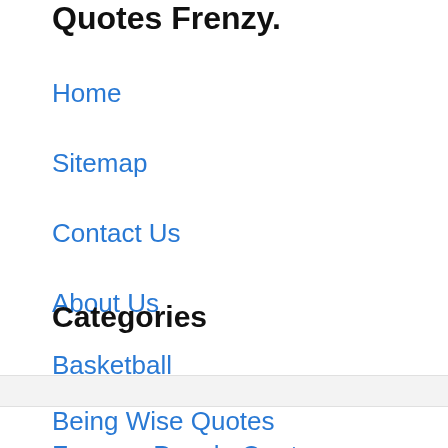Quotes Frenzy.
Home
Sitemap
Contact Us
About Us
Categories
Basketball
Being Wise Quotes
Famous People Quotes